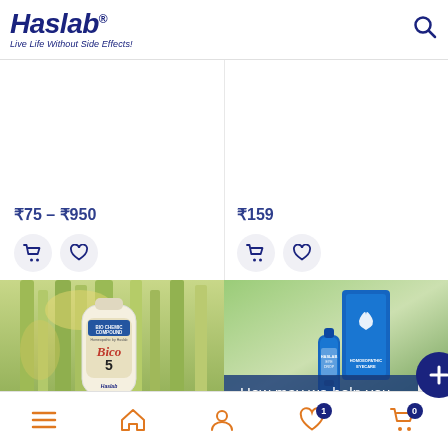Haslab® — Live Life Without Side Effects!
₹75 – ₹950
₹159
[Figure (photo): Haslab Bico 5 Bio Chemic Compound product bottle with bamboo forest background]
[Figure (photo): Haslab homeopathic eye drop bottle and blue box with green background; overlay text: How may we help you]
Bottom navigation bar with menu, home, account, wishlist (1), cart (0) icons